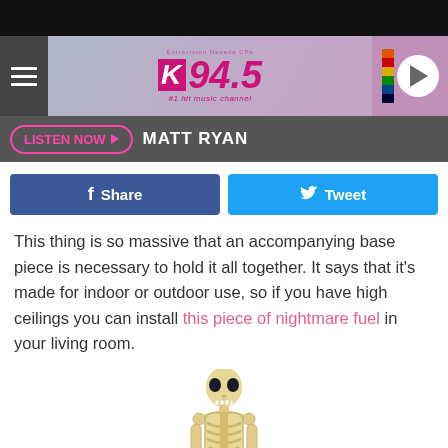[Figure (screenshot): K94.5 radio station website header with logo, hamburger menu, and play button]
LISTEN NOW ▶  MATT RYAN
[Figure (infographic): Facebook Share and Twitter Tweet social sharing buttons]
This thing is so massive that an accompanying base piece is necessary to hold it all together. It says that it's made for indoor or outdoor use, so if you have high ceilings you can install this piece of nightmare fuel in your living room.
[Figure (illustration): Skeleton illustration (upper body) on white background]